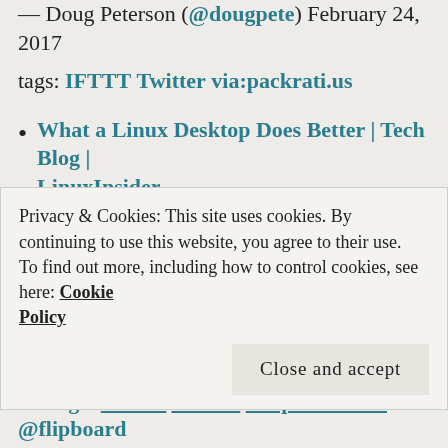— Doug Peterson (@dougpete) February 24, 2017
tags: IFTTT Twitter via:packrati.us
What a Linux Desktop Does Better | Tech Blog | LinuxInsider
What a Linux Desktop Does Better https://t.co/005iE225qk via @flipboard
— Doug Peterson (@dougpete) February 24, 2017
tags: IFTTT Twitter via:packrati.us (truncated/partially visible)
Privacy & Cookies: This site uses cookies. By continuing to use this website, you agree to their use.
To find out more, including how to control cookies, see here: Cookie Policy
Close and accept
@flipboard (partially visible)